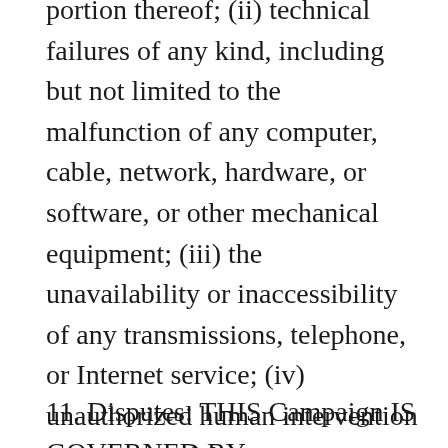portion thereof; (ii) technical failures of any kind, including but not limited to the malfunction of any computer, cable, network, hardware, or software, or other mechanical equipment; (iii) the unavailability or inaccessibility of any transmissions, telephone, or Internet service; (iv) unauthorized human intervention in any part of the entry process or the Promotion; (v) electronic or human error in the administration of the Promotion or the processing of entries.
11. Disputes: THIS Campaign IS GOVERNED BY